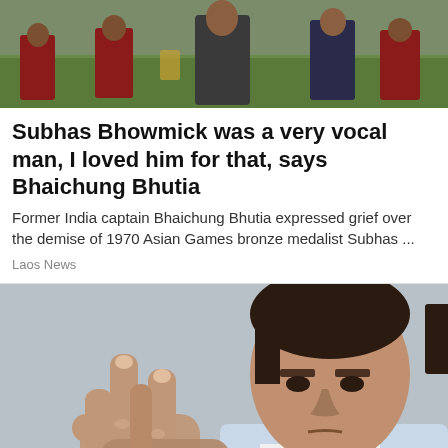[Figure (photo): Football players and officials on a sports field, with green turf visible in the background]
Subhas Bhowmick was a very vocal man, I loved him for that, says Bhaichung Bhutia
Former India captain Bhaichung Bhutia expressed grief over the demise of 1970 Asian Games bronze medalist Subhas ...
Laos News
[Figure (photo): Middle-aged man with dark hair looking at his hands with a concerned expression, holding his fingers, wearing a light blue blazer and white shirt, blurred grey background]